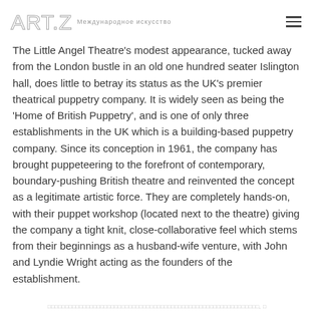ART.ZIP | Международное искусство
The Little Angel Theatre's modest appearance, tucked away from the London bustle in an old one hundred seater Islington hall, does little to betray its status as the UK's premier theatrical puppetry company. It is widely seen as being the 'Home of British Puppetry', and is one of only three establishments in the UK which is a building-based puppetry company. Since its conception in 1961, the company has brought puppeteering to the forefront of contemporary, boundary-pushing British theatre and reinvented the concept as a legitimate artistic force. They are completely hands-on, with their puppet workshop (located next to the theatre) giving the company a tight knit, close-collaborative feel which stems from their beginnings as a husband-wife venture, with John and Lyndie Wright acting as the founders of the establishment.
□□□□□□□□□□□□□□□□□□□□□□□□□□□□□□□□□□□□□□□□□□□□□□□□□□□□□□□□□□, □